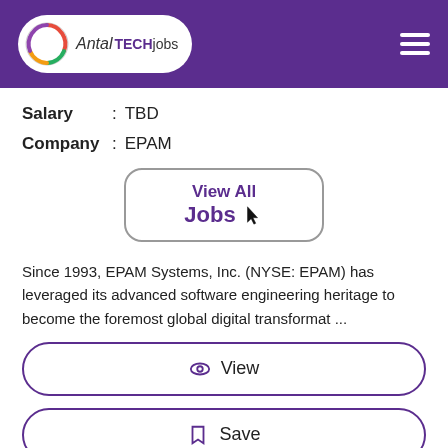[Figure (logo): Antal Tech Jobs logo in white pill shape on purple header background]
Salary : TBD
Company : EPAM
[Figure (other): View All Jobs button with cursor icon, rounded rectangle border]
Since 1993, EPAM Systems, Inc. (NYSE: EPAM) has leveraged its advanced software engineering heritage to become the foremost global digital transformat ...
View
Save